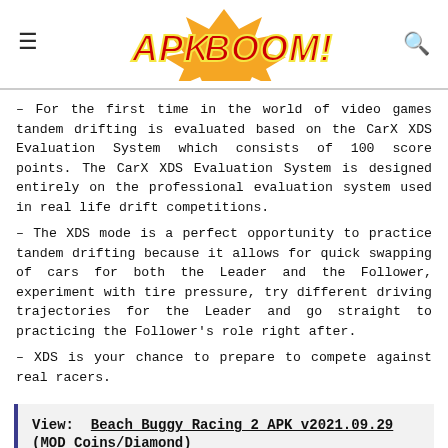APKBOOM!
– For the first time in the world of video games tandem drifting is evaluated based on the CarX XDS Evaluation System which consists of 100 score points. The CarX XDS Evaluation System is designed entirely on the professional evaluation system used in real life drift competitions.
– The XDS mode is a perfect opportunity to practice tandem drifting because it allows for quick swapping of cars for both the Leader and the Follower, experiment with tire pressure, try different driving trajectories for the Leader and go straight to practicing the Follower's role right after.
– XDS is your chance to prepare to compete against real racers.
View:  Beach Buggy Racing 2 APK v2021.09.29 (MOD Coins/Diamond)